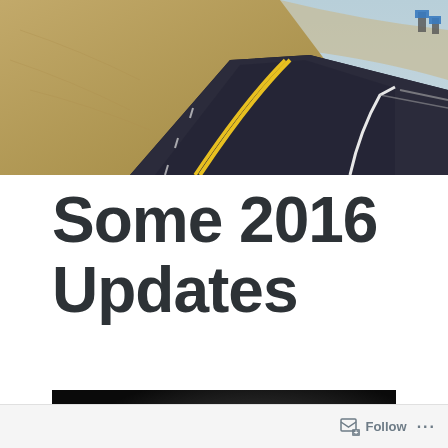[Figure (photo): Aerial/ground-level view of a two-lane desert road curving into the distance, with sandy hillside on the left and blue sky. Yellow center line and white edge line visible.]
Some 2016 Updates
[Figure (photo): Dark, low-light or night-time photograph — mostly dark gray and black tones with a subtle lighter gradient in the center-right area.]
Follow ...